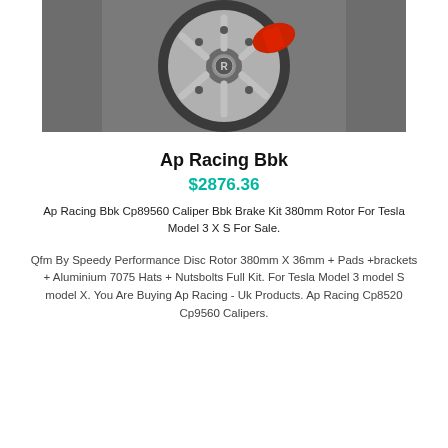[Figure (photo): Close-up photo of a car wheel with silver spokes and a red brake caliper visible behind the wheel, with a tire in the background]
Ap Racing Bbk
$2876.36
Ap Racing Bbk Cp89560 Caliper Bbk Brake Kit 380mm Rotor For Tesla Model 3 X S For Sale.
Qfm By Speedy Performance Disc Rotor 380mm X 36mm + Pads +brackets + Aluminium 7075 Hats + Nutsbolts Full Kit. For Tesla Model 3 model S model X. You Are Buying Ap Racing - Uk Products. Ap Racing Cp8520 Cp9560 Calipers.